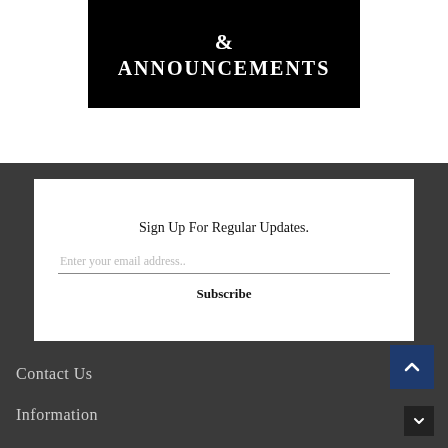[Figure (illustration): Black banner image with white text '& ANNOUNCEMENTS' in bold serif font, with a partial image of a lamp in the top right corner.]
Sign Up For Regular Updates.
Enter your email address..
Subscribe
Contact Us
Information